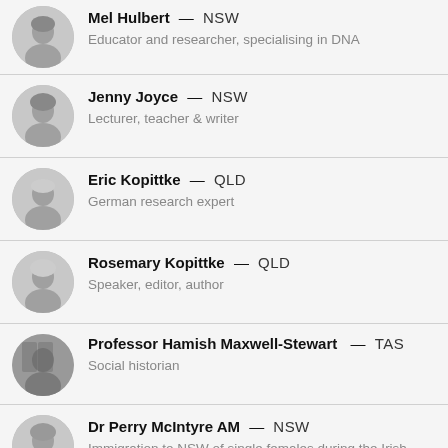Mel Hulbert — NSW
Educator and researcher, specialising in DNA
Jenny Joyce — NSW
Lecturer, teacher & writer
Eric Kopittke — QLD
German research expert
Rosemary Kopittke — QLD
Speaker, editor, author
Professor Hamish Maxwell-Stewart — TAS
Social historian
Dr Perry McIntyre AM — NSW
Immigration to NSW of single females during the Irish Famine